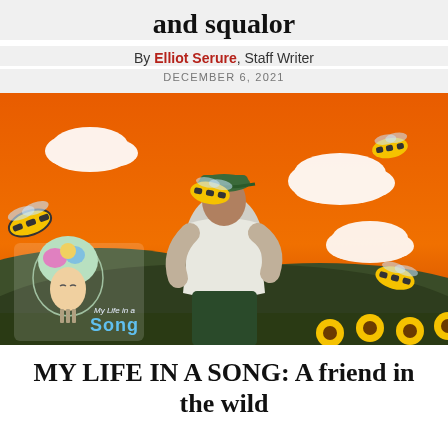and squalor
By Elliot Serure, Staff Writer
DECEMBER 6, 2021
[Figure (illustration): Album art showing a person in a white t-shirt and green cap standing amid giant bumblebees against an orange sky with clouds, sunflowers in the foreground, and a 'My Life in a Song' logo overlaid in the bottom left.]
MY LIFE IN A SONG: A friend in the wild